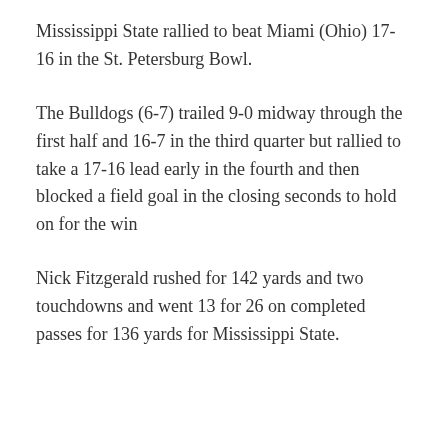Mississippi State rallied to beat Miami (Ohio) 17-16 in the St. Petersburg Bowl.
The Bulldogs (6-7) trailed 9-0 midway through the first half and 16-7 in the third quarter but rallied to take a 17-16 lead early in the fourth and then blocked a field goal in the closing seconds to hold on for the win
Nick Fitzgerald rushed for 142 yards and two touchdowns and went 13 for 26 on completed passes for 136 yards for Mississippi State.